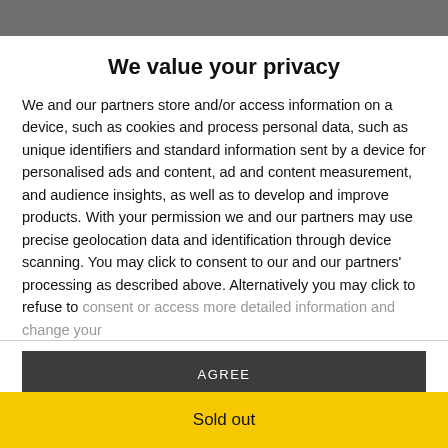We value your privacy
We and our partners store and/or access information on a device, such as cookies and process personal data, such as unique identifiers and standard information sent by a device for personalised ads and content, ad and content measurement, and audience insights, as well as to develop and improve products. With your permission we and our partners may use precise geolocation data and identification through device scanning. You may click to consent to our and our partners' processing as described above. Alternatively you may click to refuse to consent or access more detailed information and change your
AGREE
MORE OPTIONS
Sold out